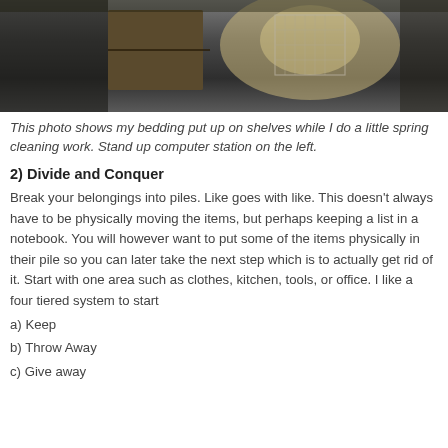[Figure (photo): Photo showing bedding stored on shelves during spring cleaning, with a stand-up computer station on the left.]
This photo shows my bedding put up on shelves while I do a little spring cleaning work. Stand up computer station on the left.
2) Divide and Conquer
Break your belongings into piles. Like goes with like. This doesn't always have to be physically moving the items, but perhaps keeping a list in a notebook. You will however want to put some of the items physically in their pile so you can later take the next step which is to actually get rid of it. Start with one area such as clothes, kitchen, tools, or office. I like a four tiered system to start
a) Keep
b) Throw Away
c) Give away